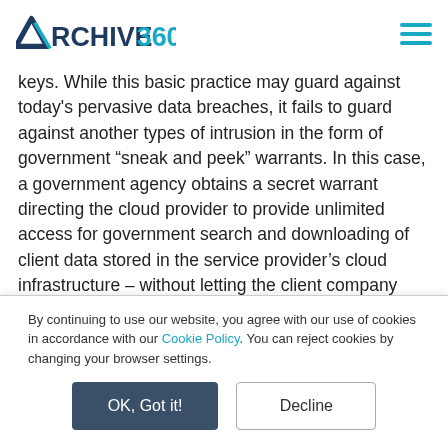Archive360
keys. While this basic practice may guard against today's pervasive data breaches, it fails to guard against another types of intrusion in the form of government “sneak and peek” warrants. In this case, a government agency obtains a secret warrant directing the cloud provider to provide unlimited access for government search and downloading of client data stored in the service provider’s cloud infrastructure – without letting the client company know.

In some instances, cloud providers will fight a government
By continuing to use our website, you agree with our use of cookies in accordance with our Cookie Policy. You can reject cookies by changing your browser settings.